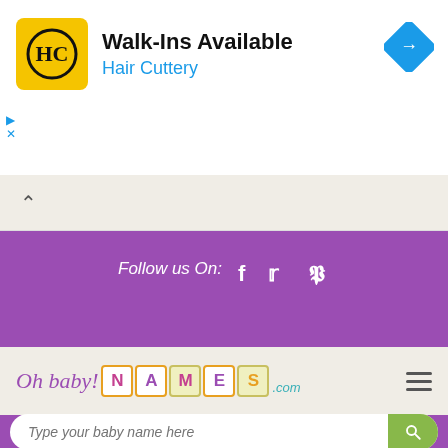[Figure (screenshot): Hair Cuttery advertisement banner with yellow HC logo, text 'Walk-Ins Available', 'Hair Cuttery' in blue, and a blue navigation arrow icon on the right.]
[Figure (screenshot): Purple bar with 'Follow us On:' text and Facebook, Twitter, Pinterest social media icons in white.]
[Figure (logo): Oh baby! NAMES.com logo with purple italic text and colorful letter-tile style NAMES letters, hamburger menu icon on the right.]
[Figure (screenshot): Purple search section with white rounded search input field reading 'Type your baby name here' and a green search button with magnifying glass icon.]